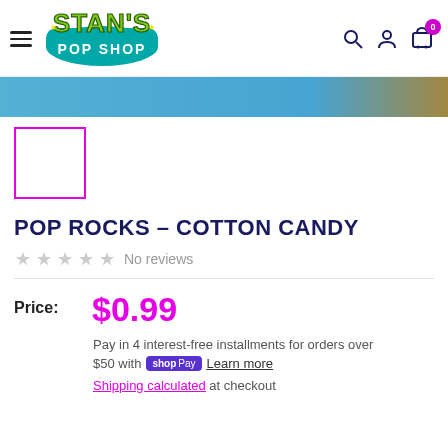Stan's Pop Shop — navigation header with logo, search, account, and cart icons
[Figure (photo): Hero banner image strip showing colorful Pop Rocks packaging partially visible]
[Figure (photo): Product thumbnail placeholder box with magenta/pink border outline]
POP ROCKS - COTTON CANDY
No reviews
Price: $0.99
Pay in 4 interest-free installments for orders over $50 with shop Pay Learn more
Shipping calculated at checkout